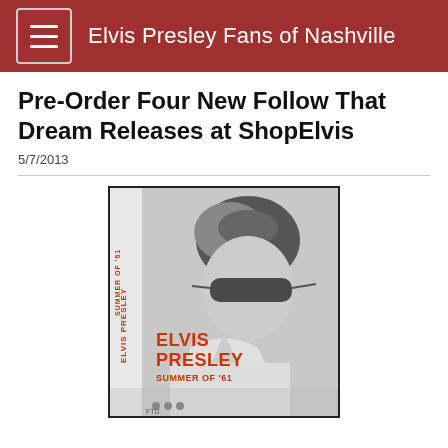Elvis Presley Fans of Nashville
Pre-Order Four New Follow That Dream Releases at ShopElvis
5/7/2013
[Figure (photo): Album cover for Elvis Presley 'Summer of '61' — black and white photo of Elvis wearing sunglasses, with orange text on the left spine and front reading ELVIS PRESLEY SUMMER OF '61]